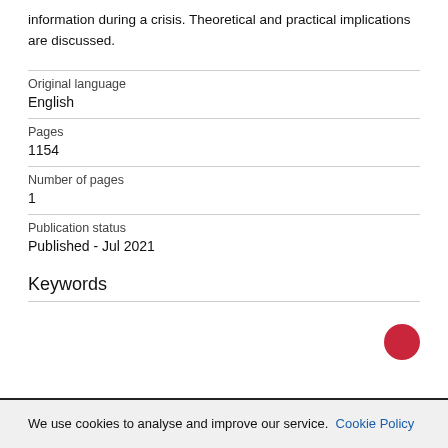information during a crisis. Theoretical and practical implications are discussed.
| Field | Value |
| --- | --- |
| Original language | English |
| Pages | 1154 |
| Number of pages | 1 |
| Publication status | Published - Jul 2021 |
Keywords
We use cookies to analyse and improve our service. Cookie Policy